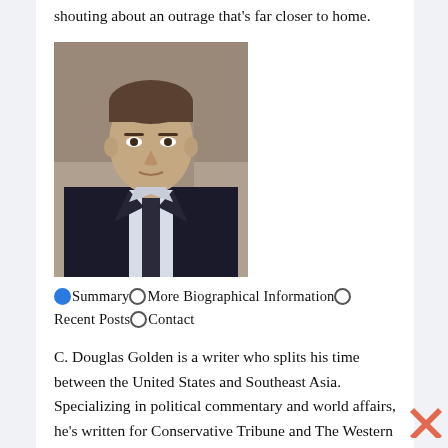shouting about an outrage that's far closer to home.
[Figure (photo): Headshot photograph of C. Douglas Golden, a man in a dark suit and tie with a white shirt, photographed outdoors with a blurred background.]
●Summary○More Biographical Information○ Recent Posts○Contact
C. Douglas Golden is a writer who splits his time between the United States and Southeast Asia. Specializing in political commentary and world affairs, he's written for Conservative Tribune and The Western Journal since 2014.